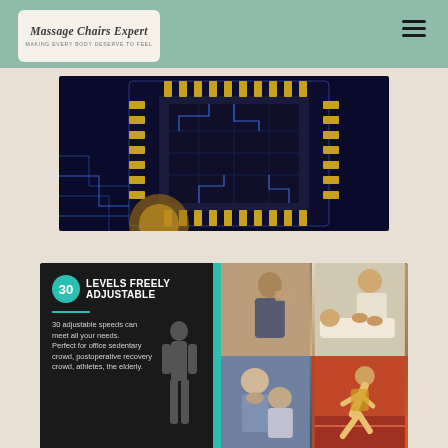Massage Chairs Expert
[Figure (photo): Close-up of a gold and blue circuit board / microchip with glowing circuit traces on dark background]
[Figure (infographic): Infographic panel on dark background: '30 LEVELS FREELY ADJUSTABLE' with teal circle badge showing '30', teal underline, and text '30 adjustable speeds can meet all your needs. Perfect for office sedentary crowd, postoperative recovery crowd, athletes, the elderly.' Right side shows 4 photos: woman with neck pain, massage therapist working on client, man with back pain, athlete sprinting.]